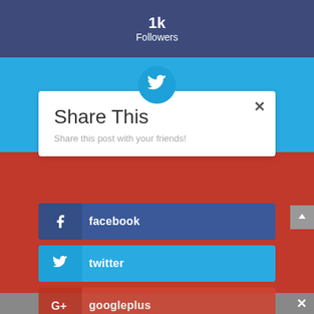1k Followers
[Figure (screenshot): Share This modal dialog with social media sharing buttons: facebook, twitter, googleplus, pinterest, reddit]
Share This
Share this post with your friends!
facebook
twitter
googleplus
pinterest
reddit